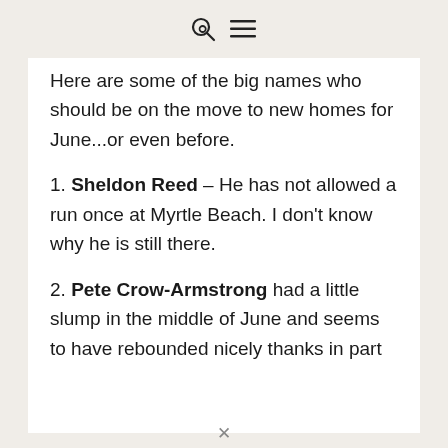🔍 ≡
Here are some of the big names who should be on the move to new homes for June...or even before.
1. Sheldon Reed – He has not allowed a run once at Myrtle Beach. I don't know why he is still there.
2. Pete Crow-Armstrong had a little slump in the middle of June and seems to have rebounded nicely thanks in part